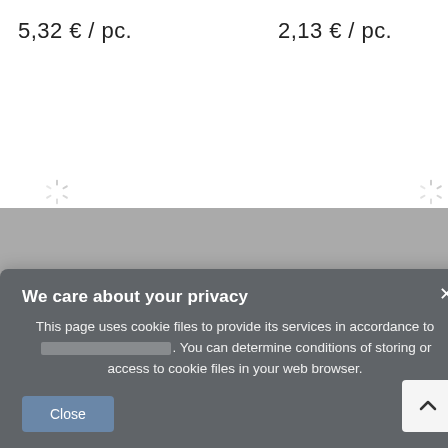5,32 € / pc.
2,13 € / pc.
[Figure (other): Two loading spinner icons (sunburst/radial lines style), one on left side and one on right side of the page, indicating content loading]
We care about your privacy
This page uses cookie files to provide its services in accordance to [link]. You can determine conditions of storing or access to cookie files in your web browser.
Close